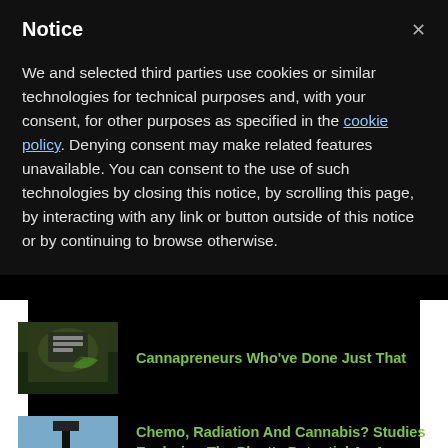Notice
We and selected third parties use cookies or similar technologies for technical purposes and, with your consent, for other purposes as specified in the cookie policy. Denying consent may make related features unavailable. You can consent to the use of such technologies by closing this notice, by scrolling this page, by interacting with any link or button outside of this notice or by continuing to browse otherwise.
Cannapreneurs Who've Done Just That
Chemo, Radiation And Cannabis? Studies Exploring The Plant's Potential As An Effective Treatment
Women And Weed: Here's Why Female Cannabis Consumers Are In Hiding